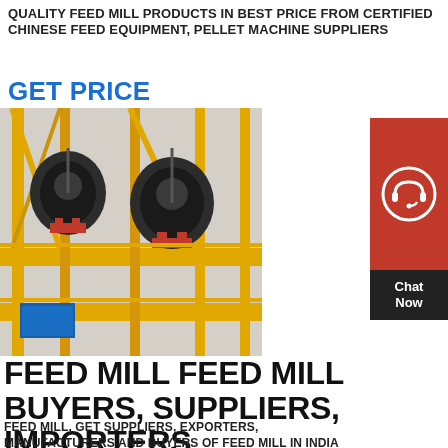QUALITY FEED MILL PRODUCTS IN BEST PRICE FROM CERTIFIED CHINESE FEED EQUIPMENT, PELLET MACHINE SUPPLIERS
GET PRICE
[Figure (photo): Industrial feed mill machinery with yellow steel framework and black crusher/pellet machines on an elevated platform]
[Figure (infographic): Red chat widget with headset icon and Chat Now label on dark background]
FEED MILL FEED MILL BUYERS, SUPPLIERS, IMPORTERS
FEED MILL, GET SUPPLIERS, EXPORTERS, MANUFACTURERS AND BUYERS OF FEED MILL IN INDIA